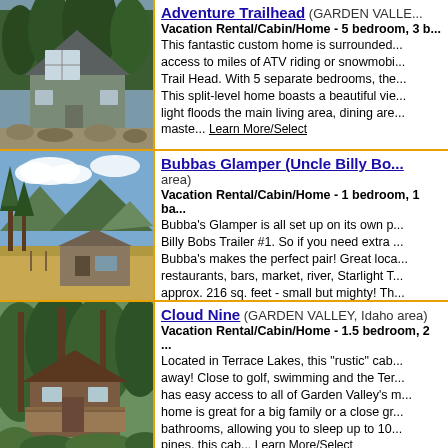[Figure (photo): Photo of a custom home with large windows surrounded by pine trees and rocky landscape]
Adventure Trailhead (GARDEN VALLE... Vacation Rental/Cabin/Home - 5 bedroom, 3 b... This fantastic custom home is surrounded... access to miles of ATV riding or snowmobi... Trail Head. With 5 separate bedrooms, the... This split-level home boasts a beautiful vie... light floods the main living area, dining are... maste... Learn More/Select
[Figure (photo): Photo of a glamper/trailer with tall pine trees and mountains in the background]
Bubbas Glamper (Uncle Billy Bo... area) Vacation Rental/Cabin/Home - 1 bedroom, 1 ba... Bubba's Glamper is all set up on its own p... Billy Bobs Trailer #1. So if you need extra ... Bubba's makes the perfect pair! Great loca... restaurants, bars, market, river, Starlight T... approx. 216 sq. feet - small but mighty! Th... pillow-top que... Learn More/Select
[Figure (photo): Photo of a rustic cabin in the woods surrounded by pine trees and lush foliage]
Cloud Nine (GARDEN VALLEY, Idaho area) Vacation Rental/Cabin/Home - 1.5 bedroom, 2 ... Located in Terrace Lakes, this "rustic" cab... away! Close to golf, swimming and the Ter... has easy access to all of Garden Valley's m... home is great for a big family or a close gr... bathrooms, allowing you to sleep up to 10... pines, this cab... Learn More/Select